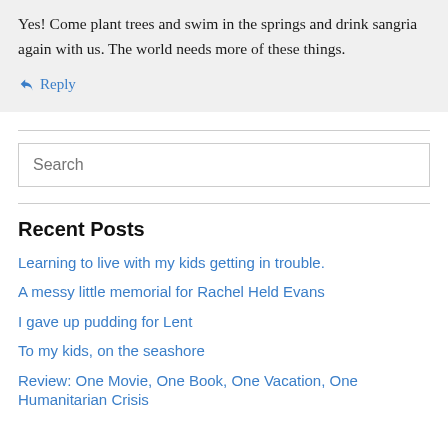Yes! Come plant trees and swim in the springs and drink sangria again with us. The world needs more of these things.
↳ Reply
Search
Recent Posts
Learning to live with my kids getting in trouble.
A messy little memorial for Rachel Held Evans
I gave up pudding for Lent
To my kids, on the seashore
Review: One Movie, One Book, One Vacation, One Humanitarian Crisis